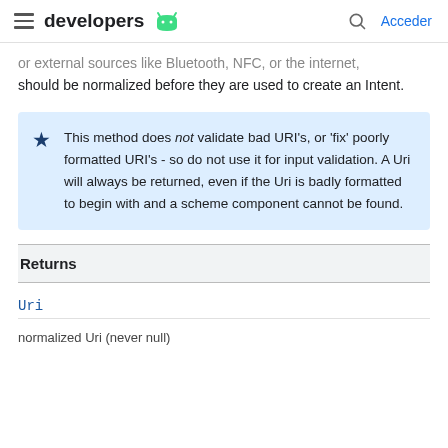developers (Android logo) | Acceder
or external sources like Bluetooth, NFC, or the internet, should be normalized before they are used to create an Intent.
This method does not validate bad URI's, or 'fix' poorly formatted URI's - so do not use it for input validation. A Uri will always be returned, even if the Uri is badly formatted to begin with and a scheme component cannot be found.
| Returns |
| --- |
| Uri |
| normalized Uri (never null) |
normalized Uri (never null)